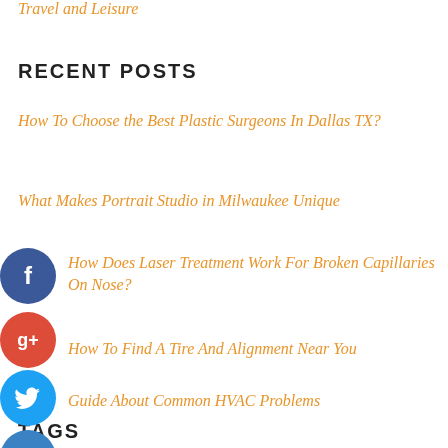Travel and Leisure
RECENT POSTS
How To Choose the Best Plastic Surgeons In Dallas TX?
What Makes Portrait Studio in Milwaukee Unique
How Does Laser Treatment Work For Broken Capillaries On Nose?
How To Find A Tire And Alignment Near You
Guide About Common HVAC Problems
TAGS